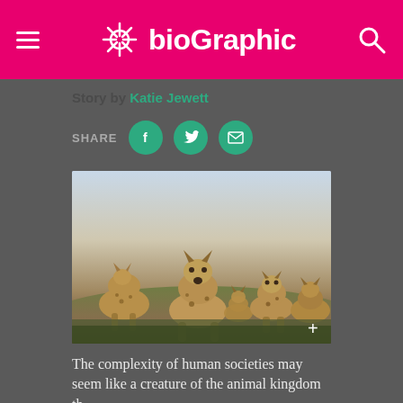bioGraphic
Story by Katie Jewett
SHARE
[Figure (photo): Group of spotted hyenas standing in grassland, looking at camera, low-angle ground-level perspective with open savanna and sky background]
The complexity of human societies may seem like a creature of the animal kingdom th...